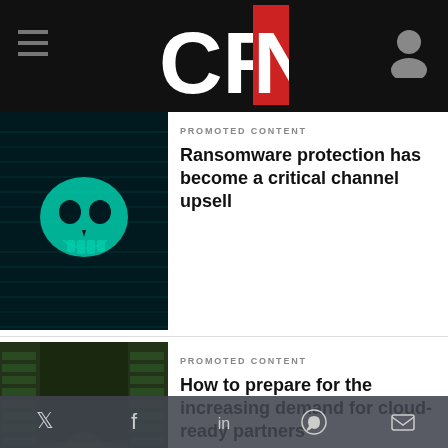CRN
PROMOTED CONTENT
Ransomware protection has become a critical channel upsell
PROMOTED CONTENT
How to prepare for the increasing demand for cloud-ready partners
SPONSORED WHITEPAPERS
How vulnerability scans identify & protect... (partially visible)
By using our site you accept that we use and share cookies and similar technologies to perform analytics and provide content and ads tailored to your interests. By continuing to use our site, you consent to this. Please see our Cookie Policy for more information.